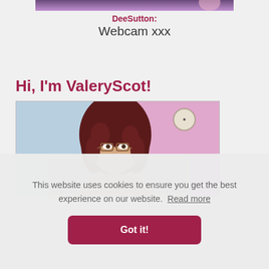[Figure (photo): Partial top banner image showing a person with purple/pink background]
DeeSutton: Webcam xxx
Hi, I'm ValeryScot!
[Figure (photo): Profile photo of a young woman with curly dark red hair and glasses, smiling, in front of a pink and blue background]
This website uses cookies to ensure you get the best experience on our website. Read more
Got it!